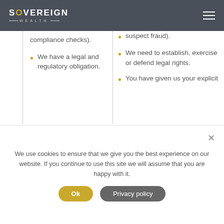SOVEREIGN WEALTH
compliance checks).
We have a legal and regulatory obligation.
suspect fraud).
We need to establish, exercise or defend legal rights.
You have given us your explicit
We use cookies to ensure that we give you the best experience on our website. If you continue to use this site we will assume that you are happy with it.